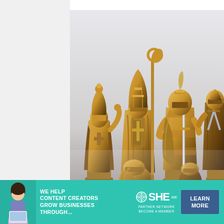[Figure (photo): Close-up photograph of ornate golden medieval knight chess pieces on a chess board. The pieces are detailed figurines of armored knights, bishops, and pawns in gold and bronze tones against a light background.]
[Figure (infographic): Advertisement banner for SHE Media Partner Network. Teal/turquoise background with image of a woman with laptop on left, bold white text reading 'WE HELP CONTENT CREATORS GROW BUSINESSES THROUGH...' in center-left, SHE Media Partner Network logo in center, and a dark blue 'LEARN MORE' button on right.]